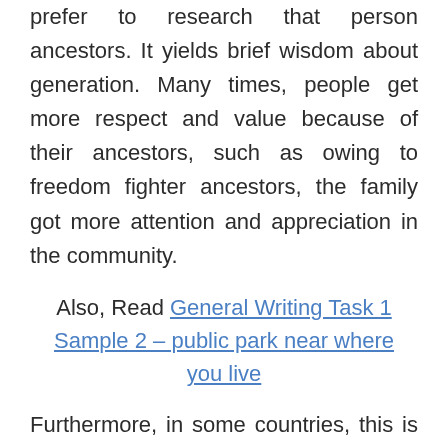prefer to research that person ancestors. It yields brief wisdom about generation. Many times, people get more respect and value because of their ancestors, such as owing to freedom fighter ancestors, the family got more attention and appreciation in the community.
Also, Read General Writing Task 1 Sample 2 – public park near where you live
Furthermore, in some countries, this is the way to know history and status in society. For instance, in south Asian countries,